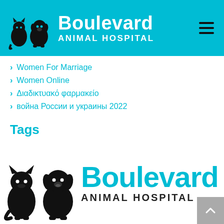[Figure (logo): Boulevard Animal Hospital logo with cat and dog silhouettes on teal/cyan background header bar]
Women For Marriage
Women Online
Διαδικτυακό φαρμακείο
война России и украины 2022
Tags
Pet Allergies  Seasonal Atopy
[Figure (logo): Boulevard Animal Hospital large bottom logo with cat and dog silhouettes in black, Boulevard text in cyan, ANIMAL HOSPITAL in black]